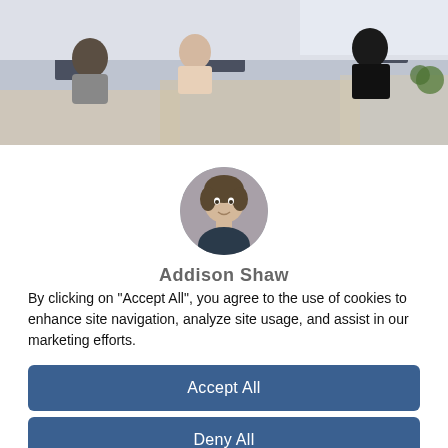[Figure (photo): Office photo showing people working at desks with computers in an open office environment]
[Figure (photo): Circular profile photo of Addison Shaw, a young man with dark hair wearing a dark shirt]
Addison Shaw
By clicking on "Accept All", you agree to the use of cookies to enhance site navigation, analyze site usage, and assist in our marketing efforts.
Accept All
Deny All
Cookie Settings